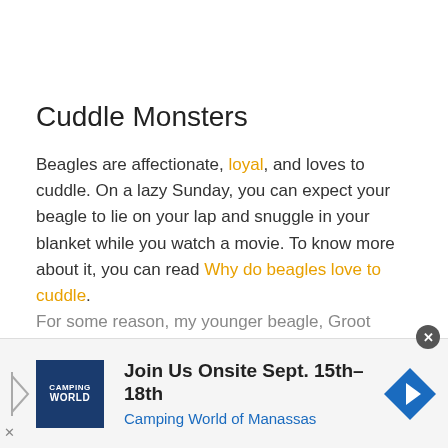Cuddle Monsters
Beagles are affectionate, loyal, and loves to cuddle. On a lazy Sunday, you can expect your beagle to lie on your lap and snuggle in your blanket while you watch a movie. To know more about it, you can read Why do beagles love to cuddle.
For some reason, my younger beagle, Groot
[Figure (screenshot): Advertisement banner: Join Us Onsite Sept. 15th-18th, Camping World of Manassas]